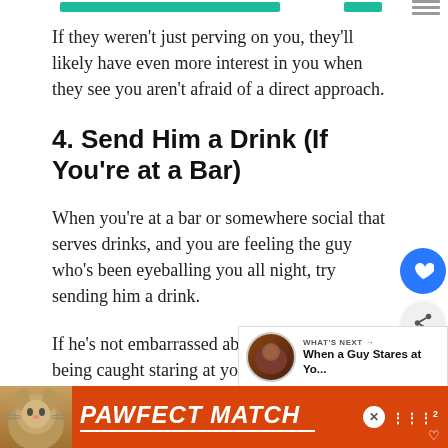If they weren't just perving on you, they'll likely have even more interest in you when they see you aren't afraid of a direct approach.
4. Send Him a Drink (If You're at a Bar)
When you're at a bar or somewhere social that serves drinks, and you are feeling the guy who's been eyeballing you all night, try sending him a drink.
If he's not embarrassed about the gift (and being caught staring at you), and his
[Figure (other): Advertisement banner for 'PAWFECT MATCH' with cat image, orange background, white italic bold text, and close button]